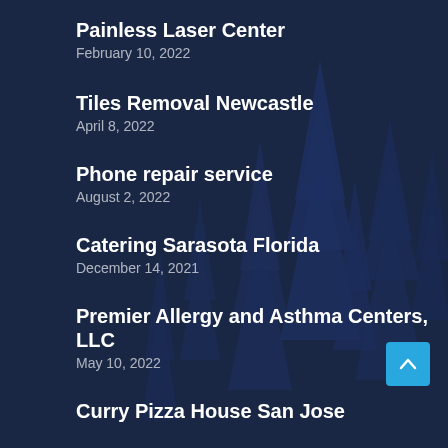Painless Laser Center
February 10, 2022
Tiles Removal Newcastle
April 8, 2022
Phone repair service
August 2, 2022
Catering Sarasota Florida
December 14, 2021
Premier Allergy and Asthma Centers, LLC
May 10, 2022
Curry Pizza House San Jose